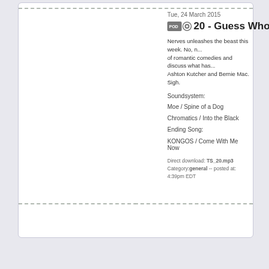Tue, 24 March 2015
20 - Guess Who Lov...
Nerves unleashes the beast this week. No, no... of romantic comedies and discuss what has... Ashton Kutcher and Bernie Mac. Sigh.
Soundsystem:
Moe / Spine of a Dog
Chromatics / Into the Black
Ending Song:
KONGOS / Come With Me Now
Direct download: TS_20.mp3
Category:general -- posted at: 4:39pm EDT